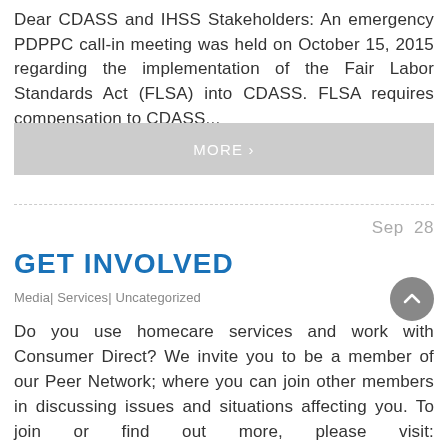Dear CDASS and IHSS Stakeholders: An emergency PDPPC call-in meeting was held on October 15, 2015 regarding the implementation of the Fair Labor Standards Act (FLSA) into CDASS. FLSA requires compensation to CDASS...
MORE ›
Sep  28
GET INVOLVED
Media| Services| Uncategorized
Do you use homecare services and work with Consumer Direct? We invite you to be a member of our Peer Network; where you can join other members in discussing issues and situations affecting you. To join or find out more, please visit: http://consumerdirectcare.com/peer-network/